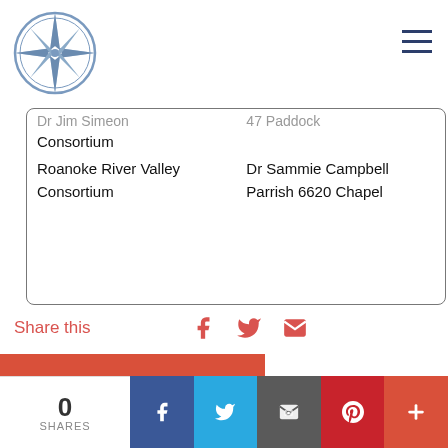[Figure (logo): Compass rose / navigation star logo in blue and silver tones]
| Dr Jim Simeon | 47 Paddock |
| Consortium |  |  |
| Roanoke River Valley Consortium | Dr Sammie Campbell Parrish | 6620 Chapel |
Share this
[Figure (infographic): Share icons: Facebook, Twitter, Email in salmon/red color]
ACTIVITY
[Figure (infographic): Bottom social sharing bar with 0 SHARES, Facebook, Twitter, Email, Pinterest, and plus buttons]